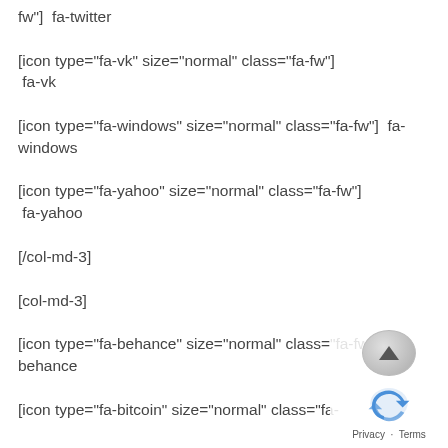fw"]  fa-twitter
[icon type="fa-vk" size="normal" class="fa-fw"]  fa-vk
[icon type="fa-windows" size="normal" class="fa-fw"]  fa-windows
[icon type="fa-yahoo" size="normal" class="fa-fw"]  fa-yahoo
[/col-md-3]
[col-md-3]
[icon type="fa-behance" size="normal" class="fa-fw"]  fa-behance
[icon type="fa-bitcoin" size="normal" class="fa-